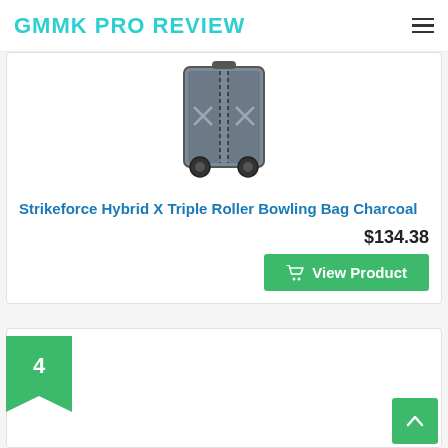GMMK PRO REVIEW
[Figure (photo): Strikeforce Hybrid X Triple Roller Bowling Bag in Charcoal color, shown as a rolling luggage-style bowling bag]
Strikeforce Hybrid X Triple Roller Bowling Bag Charcoal
$134.38
View Product
4
[Figure (photo): Black rolling bowling bag with handle extended, shown at bottom of page]